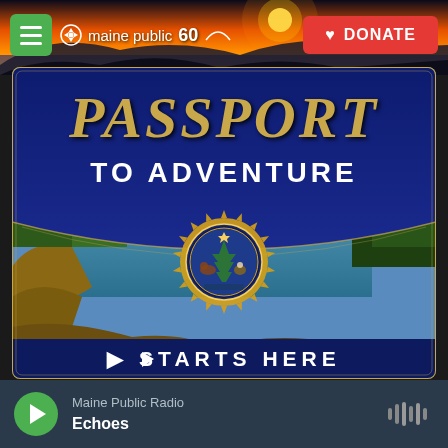[Figure (screenshot): Maine Public Radio website screenshot showing a navigation bar with hamburger menu, Maine Public 60th anniversary logo, and red DONATE button over a sunset landscape background.]
[Figure (illustration): Passport to Adventure promotional banner in dark navy blue with golden 'PASSPORT' title text, white 'TO ADVENTURE' subtitle, Maine state seal medallion in gold, scenic coastal Maine photo with trees and ocean, and 'STARTS HERE' footer with play button arrow.]
Maine Public Radio
Echoes